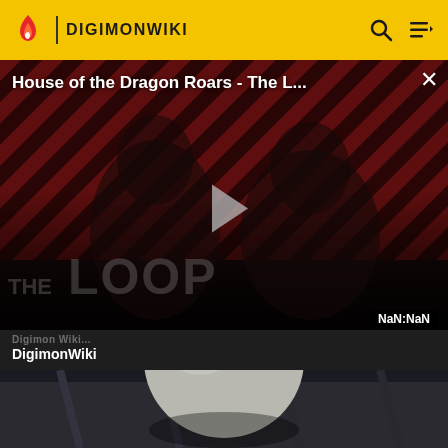DIGIMONWIKI
[Figure (screenshot): Video player overlay showing 'House of the Dragon Roars - The L...' with a play button, diagonal red and dark striped background, two figures in the foreground, 'THE LOOP' watermark text, and NaN:NaN timestamp in bottom right corner]
DigimonWiki
[Figure (photo): Partial image of what appears to be a large grey/white creature or egg in a sci-fi environment, cropped at bottom of page]